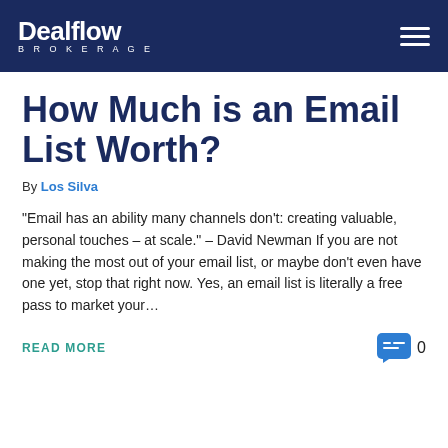Dealflow Brokerage
How Much is an Email List Worth?
By Los Silva
“Email has an ability many channels don’t: creating valuable, personal touches – at scale.” – David Newman If you are not making the most out of your email list, or maybe don’t even have one yet, stop that right now. Yes, an email list is literally a free pass to market your…
READ MORE